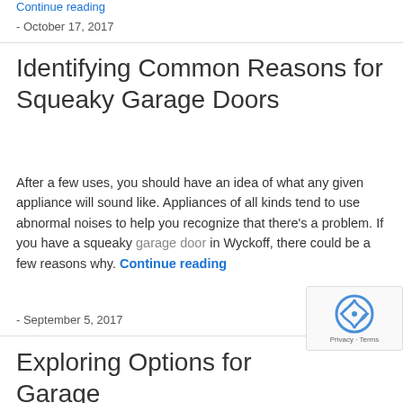Continue reading
- October 17, 2017
Identifying Common Reasons for Squeaky Garage Doors
After a few uses, you should have an idea of what any given appliance will sound like. Appliances of all kinds tend to use abnormal noises to help you recognize that there's a problem. If you have a squeaky garage door in Wyckoff, there could be a few reasons why. Continue reading
- September 5, 2017
Exploring Options for Garage